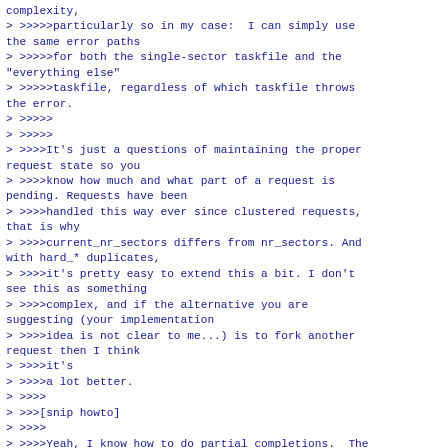complexity,
> >>>>>particularly so in my case:  I can simply use the same error paths
> >>>>>for both the single-sector taskfile and the "everything else"
> >>>>>taskfile, regardless of which taskfile throws the error.
> >>>>>
> >>>>>
> >>>>It's just a questions of maintaining the proper request state so you
> >>>>know how much and what part of a request is pending. Requests have been
> >>>>handled this way ever since clustered requests, that is why
> >>>>current_nr_sectors differs from nr_sectors. And with hard_* duplicates,
> >>>>it's pretty easy to extend this a bit. I don't see this as something
> >>>>complex, and if the alternative you are suggesting (your implementation
> >>>>idea is not clear to me...) is to fork another request then I think
> >>>>it's
> >>>>a lot better.
> >>>>
> >>>[snip howto]
> >>>>
> >>>>Yeah, I know how to do partial completions.  The increased complexity